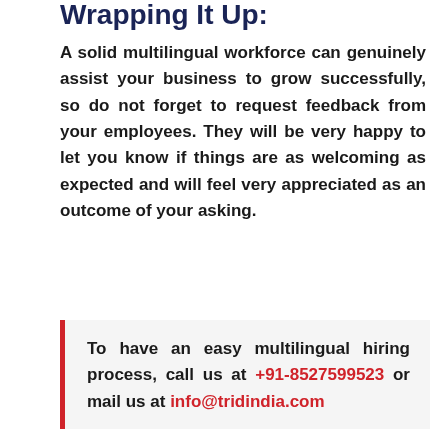Wrapping It Up:
A solid multilingual workforce can genuinely assist your business to grow successfully, so do not forget to request feedback from your employees. They will be very happy to let you know if things are as welcoming as expected and will feel very appreciated as an outcome of your asking.
To have an easy multilingual hiring process, call us at +91-8527599523 or mail us at info@tridindia.com